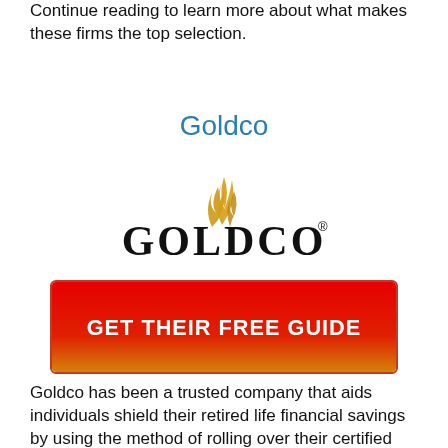Continue reading to learn more about what makes these firms the top selection.
Goldco
[Figure (logo): Goldco logo with golden flame above the text GOLDCO in bold black serif letters with a registered trademark symbol]
[Figure (other): Red to orange/yellow gradient button reading GET THEIR FREE GUIDE in bold white text]
Goldco has been a trusted company that aids individuals shield their retired life financial savings by using the method of rolling over their certified pension such as an